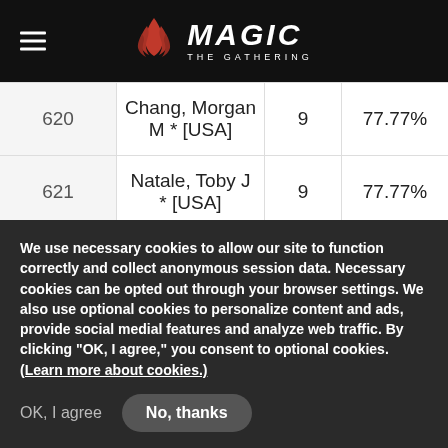Magic: The Gathering
| 620 | Chang, Morgan M * [USA] | 9 | 77.77% |
| 621 | Natale, Toby J * [USA] | 9 | 77.77% |
| 622 | Beg, Zaiem * [USA] | 9 | 77.77% |
| 623 | Hartman, Dan * [USA] | 9 | 76.38% |
| 624 | Nelson, Ray A * [USA] | 9 | 72.22% |
We use necessary cookies to allow our site to function correctly and collect anonymous session data. Necessary cookies can be opted out through your browser settings. We also use optional cookies to personalize content and ads, provide social medial features and analyze web traffic. By clicking “OK, I agree,” you consent to optional cookies. (Learn more about cookies.)